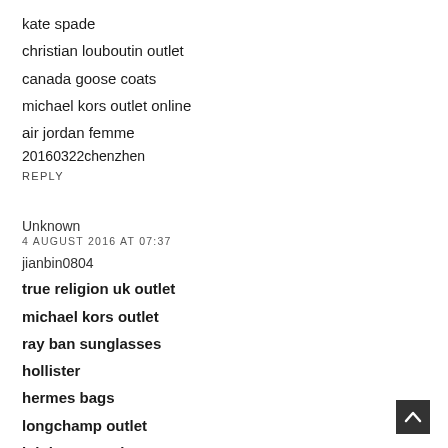kate spade
christian louboutin outlet
canada goose coats
michael kors outlet online
air jordan femme
20160322chenzhen
REPLY
Unknown
4 AUGUST 2016 AT 07:37
jianbin0804
true religion uk outlet
michael kors outlet
ray ban sunglasses
hollister
hermes bags
longchamp outlet
lululemon outlet
longchamp pliage